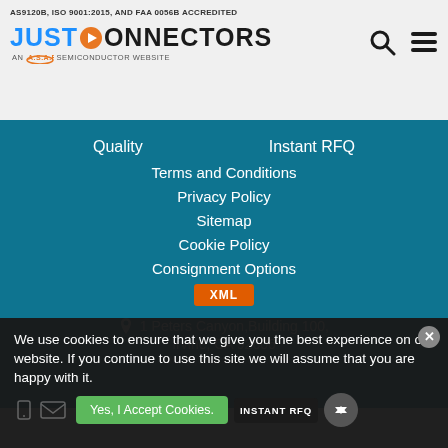AS9120B, ISO 9001:2015, AND FAA 0056B ACCREDITED
[Figure (logo): Just Connectors logo - An A.S.A.P Semiconductor website]
Quality
Instant RFQ
Terms and Conditions
Privacy Policy
Sitemap
Cookie Policy
Consignment Options
XML
1 Peters Canyon,Building 100, Irvine, CA 92606
We use cookies to ensure that we give you the best experience on our website. If you continue to use this site we will assume that you are happy with it.
Yes, I Accept Cookies.
INSTANT RFQ